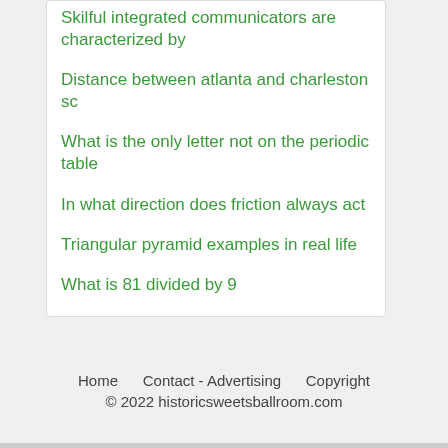Skilful integrated communicators are characterized by
Distance between atlanta and charleston sc
What is the only letter not on the periodic table
In what direction does friction always act
Triangular pyramid examples in real life
What is 81 divided by 9
Home   Contact - Advertising   Copyright
© 2022 historicsweetsballroom.com